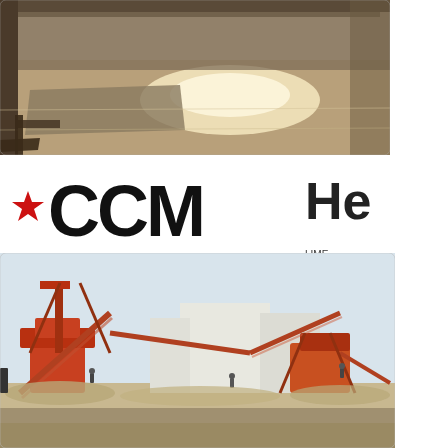[Figure (photo): Industrial warehouse or factory floor interior, showing a large flat surface with sunlight streaming in, steel beams and corrugated metal walls visible.]
[Figure (logo): CCM logo in bold black text with a red star replacing the dot above the letter C.]
He
LIME from being
[Figure (photo): Outdoor industrial crushing and screening plant with large orange machinery, conveyor belts, and workers on a dusty construction site with buildings in the background.]